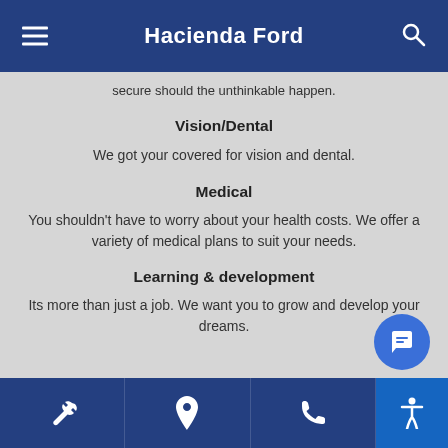Hacienda Ford
secure should the unthinkable happen.
Vision/Dental
We got your covered for vision and dental.
Medical
You shouldn't have to worry about your health costs. We offer a variety of medical plans to suit your needs.
Learning & development
Its more than just a job. We want you to grow and develop your dreams.
Wrench icon | Location pin icon | Phone icon | Accessibility icon